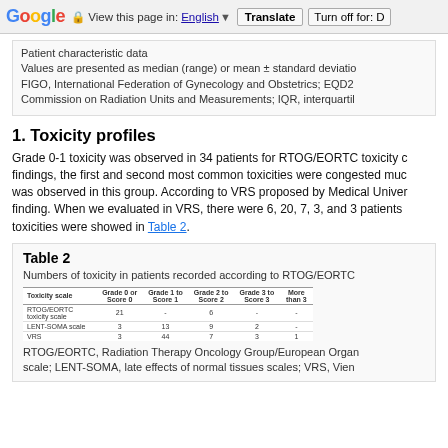Google   View this page in: English ▼  Translate  Turn off for: D
Patient characteristic data
Values are presented as median (range) or mean ± standard deviatio
FIGO, International Federation of Gynecology and Obstetrics; EQD2
Commission on Radiation Units and Measurements; IQR, interquartil
1. Toxicity profiles
Grade 0-1 toxicity was observed in 34 patients for RTOG/EORTC toxicity findings, the first and second most common toxicities were congested muc was observed in this group. According to VRS proposed by Medical Univer finding. When we evaluated in VRS, there were 6, 20, 7, 3, and 3 patients toxicities were showed in Table 2.
Table 2
Numbers of toxicity in patients recorded according to RTOG/EORTC
[Figure (table-as-image): Small rendered table showing toxicity data rows: RTOG/EORTC toxicity scale, LENT-SOMA scale, VRS with grade columns]
RTOG/EORTC, Radiation Therapy Oncology Group/European Organ scale; LENT-SOMA, late effects of normal tissues scales; VRS, Vien